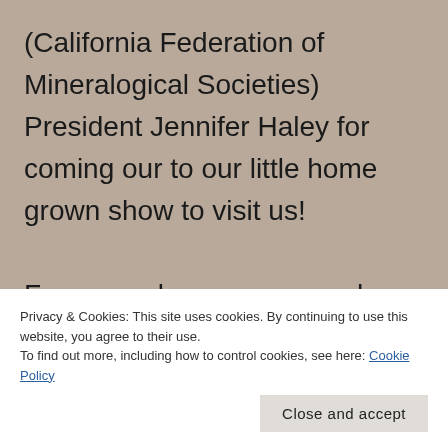(California Federation of Mineralogical Societies) President Jennifer Haley for coming our to our little home grown show to visit us!

For several years now, we have asked out show guests to vote on their favorite display cases at our show. Although it is hard to choose, only one person earns the first place plaque! This year, our first place winner was Chris Curtin, and his cases
Privacy & Cookies: This site uses cookies. By continuing to use this website, you agree to their use.
To find out more, including how to control cookies, see here: Cookie Policy
Close and accept